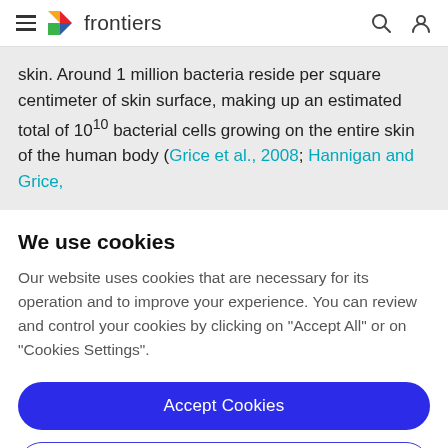frontiers
skin. Around 1 million bacteria reside per square centimeter of skin surface, making up an estimated total of 10^10 bacterial cells growing on the entire skin of the human body (Grice et al., 2008; Hannigan and Grice,
We use cookies
Our website uses cookies that are necessary for its operation and to improve your experience. You can review and control your cookies by clicking on "Accept All" or on "Cookies Settings".
Accept Cookies
Cookies Settings